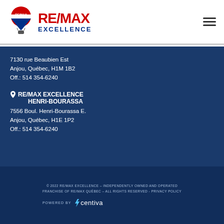[Figure (logo): RE/MAX Excellence logo with hot air balloon icon, red RE/MAX text and blue EXCELLENCE text]
7130 rue Beaubien Est
Anjou, Québec, H1M 1B2
Off.: 514 354-6240
RE/MAX EXCELLENCE
HENRI-BOURASSA
7556 Boul. Henri-Bourassa E.
Anjou, Québec, H1E 1P2
Off.: 514 354-6240
© 2022 RE/MAX EXCELLENCE – INDEPENDENTLY OWNED AND OPERATED FRANCHISE OF RE/MAX QUÉBEC – ALL RIGHTS RESERVED - PRIVACY POLICY
POWERED BY centiva